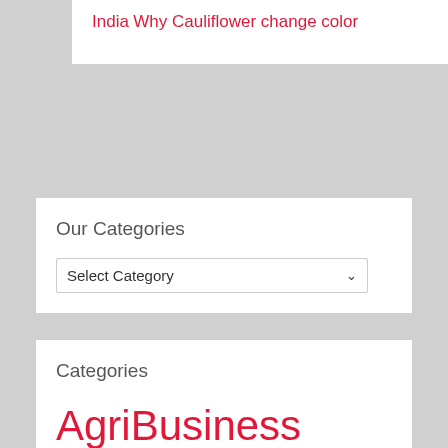India
Why Cauliflower change color
Our Categories
Select Category
Categories
AgriBusiness Agriculture Agriculture Academics AgriFarming Agri Govt. jobs Agri Jobs Agri News Agri